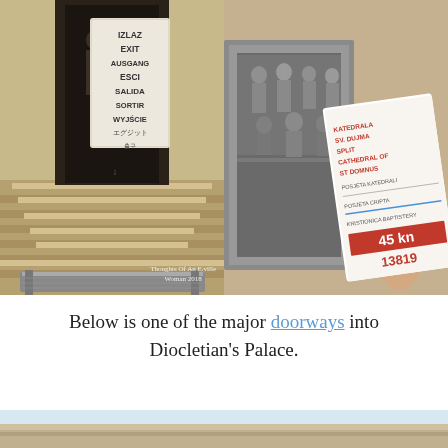[Figure (photo): Left photo: stone staircase with multilingual exit sign (IZLAZ, EXIT, AUSGANG, ESCI, SALIDA, SORTIR, WYJŚCIE, Japanese, and other scripts). Metal bench at bottom. Watermark reads 'Thoughts Of An E.ville Woman 2018'.]
[Figure (photo): Right photo: hand holding a ticket for 'Katedrala Sv. Dujma Split Cathedral of St Domnus' priced at 45 kn, number 13819, alongside an ornate silver door detail.]
Below is one of the major doorways into Diocletian's Palace.
[Figure (photo): Partial bottom photo showing the exterior of Diocletian's Palace doorway, cropped at bottom of page.]